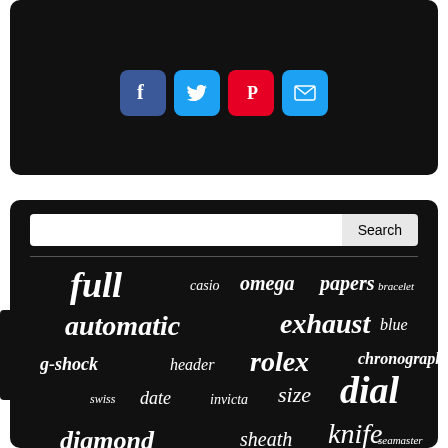[Figure (screenshot): Word cloud on black background with search bar and social media icons. Words include: full, casio, omega, papers, bracelet, automatic, exhaust, blue, g-shock, header, rolex, chronograph, swiss, date, invicta, size, dial, diamond, sheath, knife, seamaster, quartz, watch, fixed, stainless, black, system, men's, vintage, metal, seiko, mens, blade, gold]